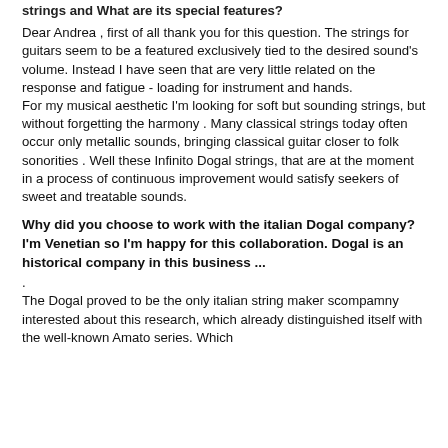strings and What are its special features?
Dear Andrea , first of all thank you for this question. The strings for guitars seem to be a featured exclusively tied to the desired sound's volume. Instead I have seen that are very little related on the response and fatigue - loading for instrument and hands.
For my musical aesthetic I'm looking for soft but sounding strings, but without forgetting the harmony . Many classical strings today often occur only metallic sounds, bringing classical guitar closer to folk sonorities . Well these Infinito Dogal strings, that are at the moment in a process of continuous improvement would satisfy seekers of sweet and treatable sounds.
Why did you choose to work with the italian Dogal company? I'm Venetian so I'm happy for this collaboration. Dogal is an historical company in this business ...
.
The Dogal proved to be the only italian string maker scompamny interested about this research, which already distinguished itself with the well-known Amato series. Which